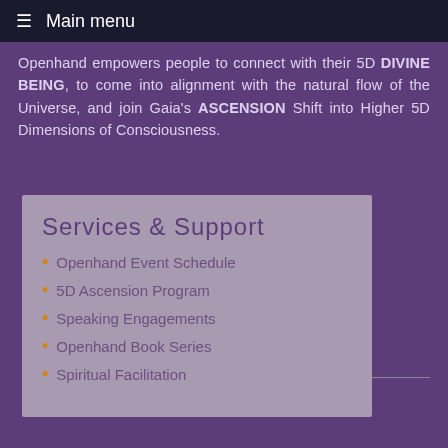≡ Main menu
Openhand empowers people to connect with their 5D DIVINE BEING, to come into alignment with the natural flow of the Universe, and join Gaia's ASCENSION Shift into Higher 5D Dimensions of Consciousness.
Services & Support
Openhand Event Schedule
5D Ascension Program
Speaking Engagements
Openhand Book Series
Spiritual Facilitation